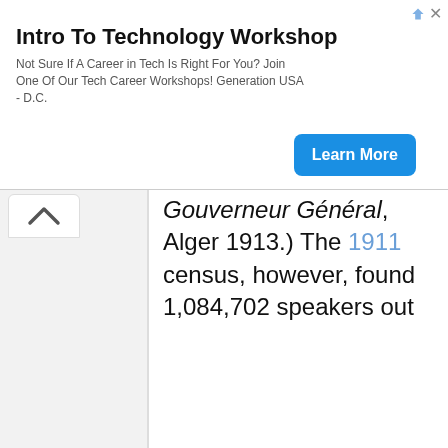[Figure (other): Advertisement banner for 'Intro To Technology Workshop' by Generation USA - D.C. with a 'Learn More' button]
Gouverneur Général, Alger 1913.) The 1911 census, however, found 1,084,702 speakers out